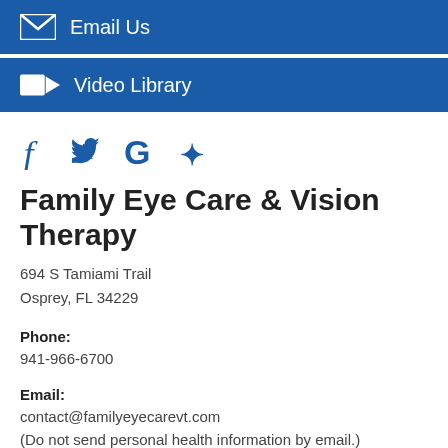[Figure (other): Blue banner with envelope icon and 'Email Us' text]
[Figure (other): Blue banner with video camera icon and 'Video Library' text]
[Figure (other): Social media icons: Facebook (f), Twitter (bird), Google (G), Yelp (y-star)]
Family Eye Care & Vision Therapy
694 S Tamiami Trail
Osprey, FL 34229
Phone:
941-966-6700
Email:
contact@familyeyecarevt.com
(Do not send personal health information by email.)
Monday:    8:30 AM - 5:00 PM